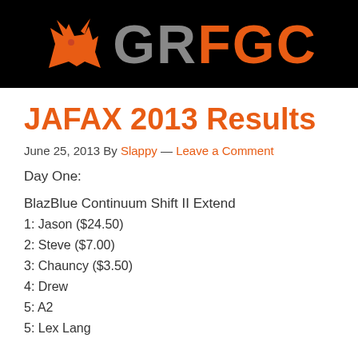[Figure (logo): GRFGC logo with orange fox/wolf icon and GRFGC text in gray and orange on black background]
JAFAX 2013 Results
June 25, 2013 By Slappy — Leave a Comment
Day One:
BlazBlue Continuum Shift II Extend
1: Jason ($24.50)
2: Steve ($7.00)
3: Chauncy ($3.50)
4: Drew
5: A2
5: Lex Lang